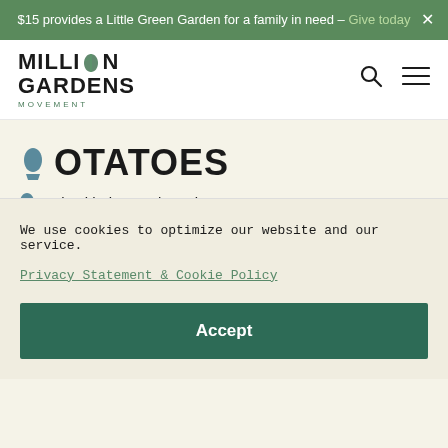$15 provides a Little Green Garden for a family in need – Give today
[Figure (logo): Million Gardens Movement logo with leaf icon]
POTATOES
Pair with: beans, brassicas, corn,
We use cookies to optimize our website and our service. Privacy Statement & Cookie Policy
Accept